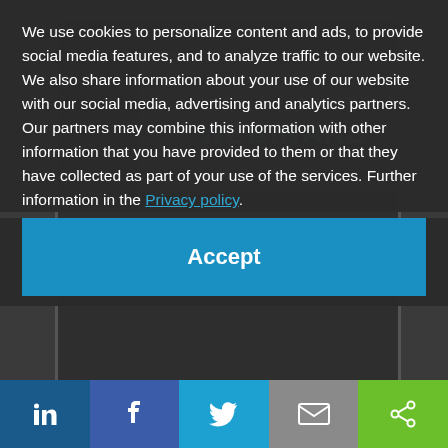We use cookies to personalize content and ads, to provide social media features, and to analyze traffic to our website. We also share information about your use of our website with our social media, advertising and analytics partners. Our partners may combine this information with other information that you have provided to them or that they have collected as part of your use of the services. Further information in the Privacy policy.
[Figure (screenshot): Cookie consent overlay with Accept button and social sharing bar at bottom (LinkedIn, Facebook, Twitter, Email, Share icons)]
Accept